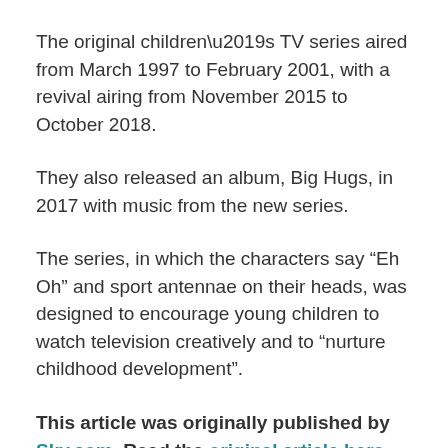The original children’s TV series aired from March 1997 to February 2001, with a revival airing from November 2015 to October 2018.
They also released an album, Big Hugs, in 2017 with music from the new series.
The series, in which the characters say “Eh Oh” and sport antennae on their heads, was designed to encourage young children to watch television creatively and to “nurture childhood development”.
This article was originally published by Sky.com. Read the original article here.